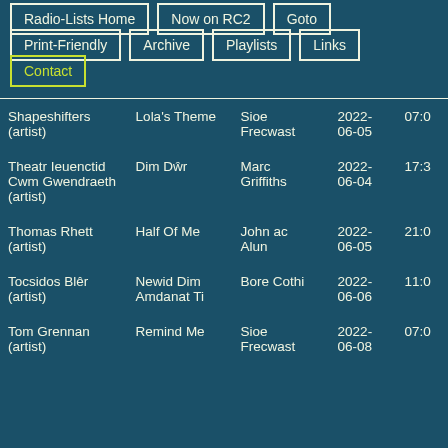Radio-Lists Home
Now on RC2
Goto
Print-Friendly
Archive
Playlists
Links
Contact
| Artist | Title | Show | Date | Time |
| --- | --- | --- | --- | --- |
| Shapeshifters (artist) | Lola's Theme | Sioe Frecwast | 2022-06-05 | 07:0 |
| Theatr Ieuenctid Cwm Gwendraeth (artist) | Dim Dŵr | Marc Griffiths | 2022-06-04 | 17:3 |
| Thomas Rhett (artist) | Half Of Me | John ac Alun | 2022-06-05 | 21:0 |
| Tocsidos Blêr (artist) | Newid Dim Amdanat Ti | Bore Cothi | 2022-06-06 | 11:0 |
| Tom Grennan (artist) | Remind Me | Sioe Frecwast | 2022-06-08 | 07:0 |